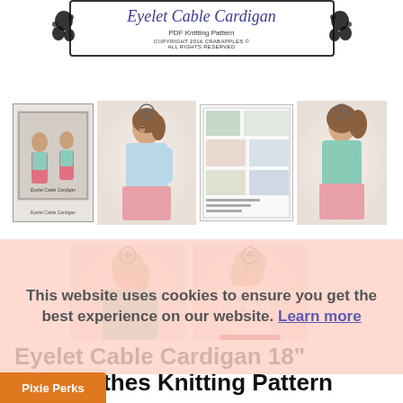[Figure (illustration): Decorative header box with cursive title 'Eyelet Cable Cardigan', subtitle 'PDF Knitting Pattern', copyright notice, and decorative floral flourishes on sides]
[Figure (photo): Grid of product photos showing doll wearing eyelet cable cardigan: pattern cover, side-view doll photo, pattern instruction pages, and back-view doll photo]
[Figure (photo): Two more doll photos showing front and side views of dolls wearing the eyelet cable cardigan]
This website uses cookies to ensure you get the best experience on our website. Learn more
Eyelet Cable Cardigan 18" Doll Clothes Knitting Pattern
Pixie Perks